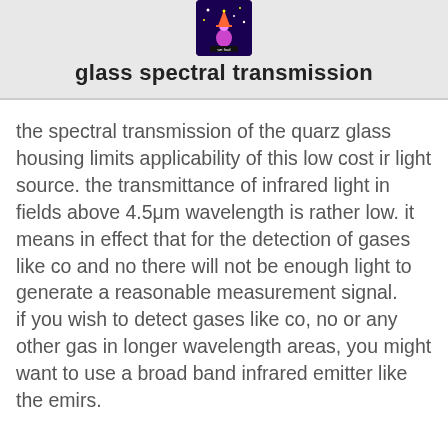[Figure (logo): Small square logo with dark purple/blue background and a stylized figure with a triangular hat and star elements]
glass spectral transmission
the spectral transmission of the quarz glass housing limits applicability of this low cost ir light source. the transmittance of infrared light in fields above 4.5μm wavelength is rather low. it means in effect that for the detection of gases like co and no there will not be enough light to generate a reasonable measurement signal.
if you wish to detect gases like co, no or any other gas in longer wavelength areas, you might want to use a broad band infrared emitter like the emirs.